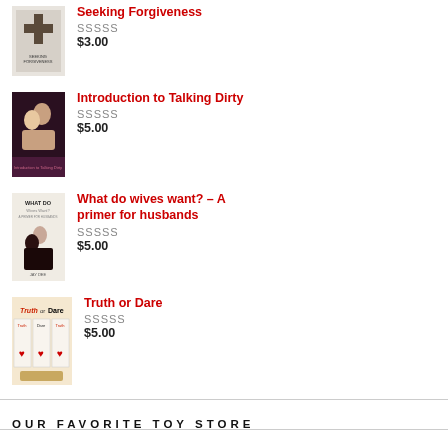[Figure (illustration): Book cover for Seeking Forgiveness showing a cross]
Seeking Forgiveness
SSSSS
$3.00
[Figure (illustration): Book cover for Introduction to Talking Dirty showing a couple]
Introduction to Talking Dirty
SSSSS
$5.00
[Figure (illustration): Book cover for What do wives want? - A primer for husbands by Jay Dee]
What do wives want? – A primer for husbands
SSSSS
$5.00
[Figure (illustration): Book cover for Truth or Dare showing Truth or Dare cards with hearts]
Truth or Dare
SSSSS
$5.00
OUR FAVORITE TOY STORE